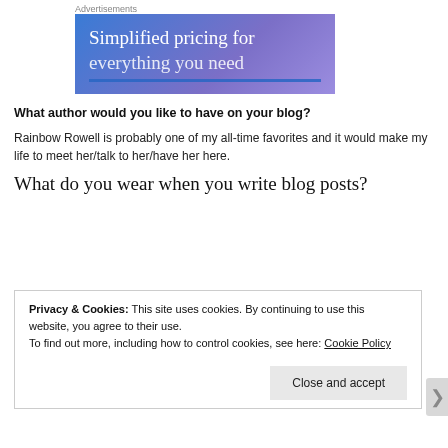Advertisements
[Figure (illustration): Advertisement banner with blue-to-purple gradient background showing text: 'Simplified pricing for' with the rest cut off]
What author would you like to have on your blog?
Rainbow Rowell is probably one of my all-time favorites and it would make my life to meet her/talk to her/have her here.
What do you wear when you write blog posts?
Privacy & Cookies: This site uses cookies. By continuing to use this website, you agree to their use.
To find out more, including how to control cookies, see here: Cookie Policy
Close and accept